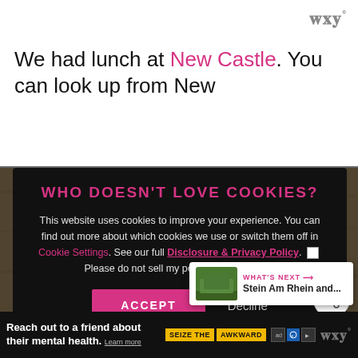[Figure (screenshot): Website screenshot showing a cookie consent modal overlay on a travel/food blog. The background shows partial text 'We had lunch at New Castle. You can look up from New' with a food photo of soup below. The black modal contains: title 'WHO DOESN'T LOVE COOKIES?', body text about cookies, links, accept/decline buttons. Bottom has a mental health advertisement banner.]
www° (logo top right)
We had lunch at New Castle. You can look up from New
WHO DOESN'T LOVE COOKIES?
This website uses cookies to improve your experience. You can find out more about which cookies we use or switch them off in Cookie Settings. See our full Disclosure & Privacy Policy. ☐ Please do not sell my personal information.
ACCEPT  Decline
WHAT'S NEXT → Stein Am Rhein and...
Reach out to a friend about their mental health. Learn more  SEIZE THE AWKWARD